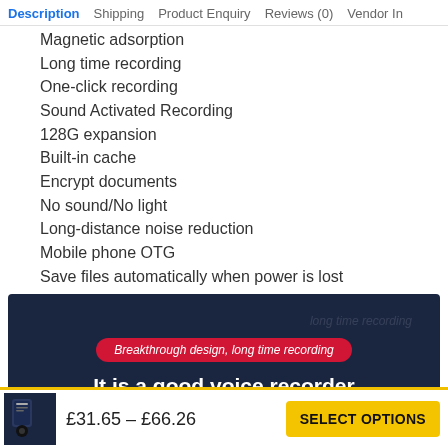Description  Shipping  Product Enquiry  Reviews (0)  Vendor In
Magnetic adsorption
Long time recording
One-click recording
Sound Activated Recording
128G expansion
Built-in cache
Encrypt documents
No sound/No light
Long-distance noise reduction
Mobile phone OTG
Save files automatically when power is lost
[Figure (photo): Dark navy product banner with a red pill badge reading 'Breakthrough design, long time recording' and white bold text 'It is a good voice recorder']
£31.65 – £66.26
SELECT OPTIONS